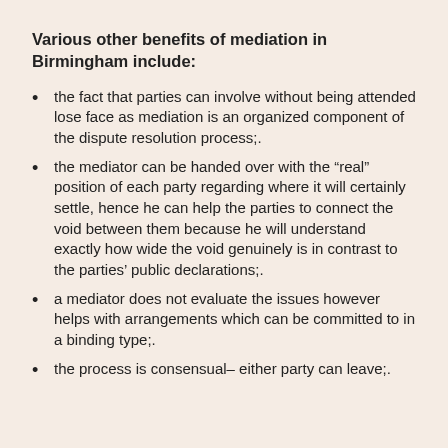Various other benefits of mediation in Birmingham include:
the fact that parties can involve without being attended lose face as mediation is an organized component of the dispute resolution process;.
the mediator can be handed over with the “real” position of each party regarding where it will certainly settle, hence he can help the parties to connect the void between them because he will understand exactly how wide the void genuinely is in contrast to the parties’ public declarations;.
a mediator does not evaluate the issues however helps with arrangements which can be committed to in a binding type;.
the process is consensual– either party can leave;.